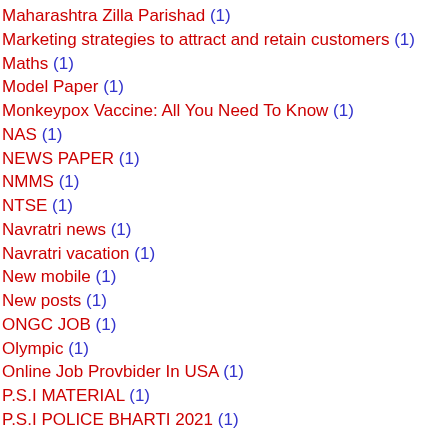Maharashtra Zilla Parishad (1)
Marketing strategies to attract and retain customers (1)
Maths (1)
Model Paper (1)
Monkeypox Vaccine: All You Need To Know (1)
NAS (1)
NEWS PAPER (1)
NMMS (1)
NTSE (1)
Navratri news (1)
Navratri vacation (1)
New mobile (1)
New posts (1)
ONGC JOB (1)
Olympic (1)
Online Job Provbider In USA (1)
P.S.I MATERIAL (1)
P.S.I POLICE BHARTI 2021 (1)